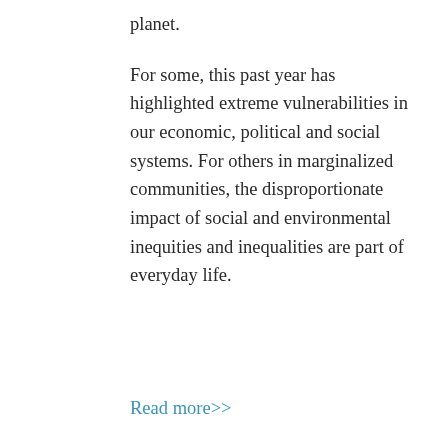planet.
For some, this past year has highlighted extreme vulnerabilities in our economic, political and social systems. For others in marginalized communities, the disproportionate impact of social and environmental inequities and inequalities are part of everyday life.
Read more>>